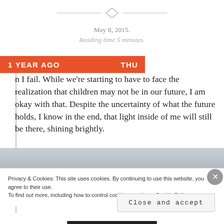[Figure (illustration): Decorative diamond/rhombus separator with horizontal lines on each side]
May 8, 2015.
Reading time 5 minutes.
1 YEAR AGO   THU   n I fail. While we're starting to have to face the realization that children may not be in our future, I am okay with that. Despite the uncertainty of what the future holds, I know in the end, that light inside of me will still be there, shining brightly.
[Figure (photo): Landscape photo with grey sky and dark trees in the bottom right corner]
Privacy & Cookies: This site uses cookies. By continuing to use this website, you agree to their use.
To find out more, including how to control cookies, see here: Cookie Policy
Close and accept